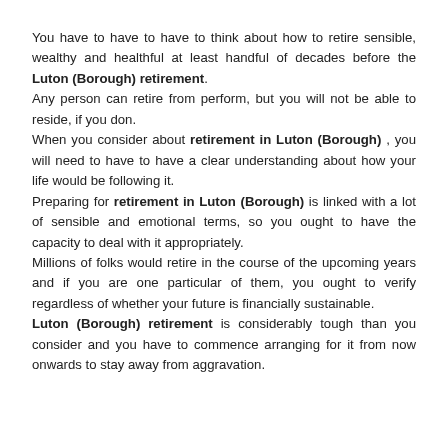You have to have to have to think about how to retire sensible, wealthy and healthful at least handful of decades before the Luton (Borough) retirement. Any person can retire from perform, but you will not be able to reside, if you don. When you consider about retirement in Luton (Borough) , you will need to have to have a clear understanding about how your life would be following it. Preparing for retirement in Luton (Borough) is linked with a lot of sensible and emotional terms, so you ought to have the capacity to deal with it appropriately. Millions of folks would retire in the course of the upcoming years and if you are one particular of them, you ought to verify regardless of whether your future is financially sustainable. Luton (Borough) retirement is considerably tough than you consider and you have to commence arranging for it from now onwards to stay away from aggravation.